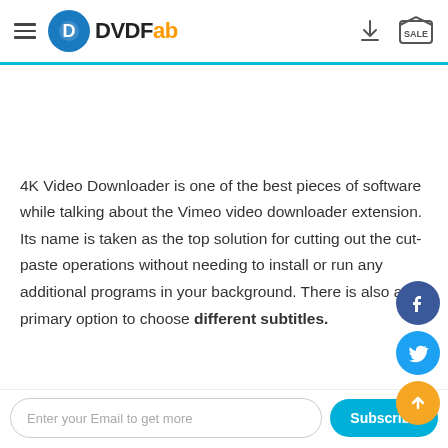DVDFab
[Figure (screenshot): Blank image/content area placeholder]
4K Video Downloader is one of the best pieces of software while talking about the Vimeo video downloader extension. Its name is taken as the top solution for cutting out the cut-paste operations without needing to install or run any additional programs in your background. There is also a primary option to choose different subtitles.
Enter your Email to get more
Subscribe